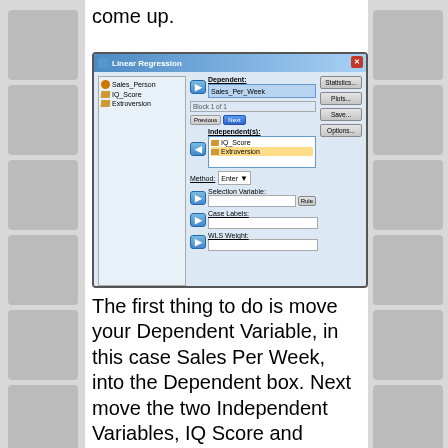come up.
[Figure (screenshot): SPSS Linear Regression dialog box showing Sales_Per_Week as Dependent variable, IQ_Score and Extroversion as Independent variables, with Enter method selected. Variable list shows Sales_Person, IQ_Score, Extroversion on the left.]
The first thing to do is move your Dependent Variable, in this case Sales Per Week, into the Dependent box. Next move the two Independent Variables, IQ Score and Extroversion